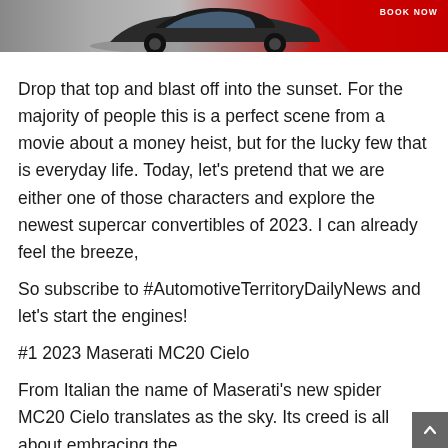[Figure (photo): Banner image of a red sports car with a red diagonal background and 'BOOK NOW' text in the top right corner]
Drop that top and blast off into the sunset. For the majority of people this is a perfect scene from a movie about a money heist, but for the lucky few that is everyday life. Today, let's pretend that we are either one of those characters and explore the newest supercar convertibles of 2023. I can already feel the breeze,
So subscribe to #AutomotiveTerritoryDailyNews and let's start the engines!
#1 2023 Maserati MC20 Cielo
From Italian the name of Maserati's new spider MC20 Cielo translates as the sky. Its creed is all about embracing the